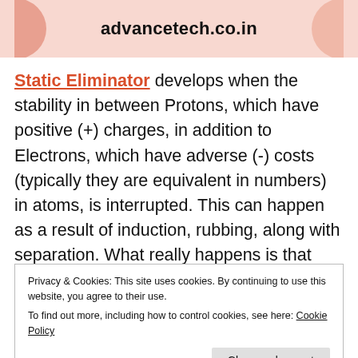advancetech.co.in
Static Eliminator develops when the stability in between Protons, which have positive (+) charges, in addition to Electrons, which have adverse (-) costs (typically they are equivalent in numbers) in atoms, is interrupted. This can happen as a result of induction, rubbing, along with separation. What really happens is that usually the Electrons move to an added atom, leaving much less or no unfavorable (-) charge to
Privacy & Cookies: This site uses cookies. By continuing to use this website, you agree to their use.
To find out more, including how to control cookies, see here: Cookie Policy
element. Billions of bucks are shed yearly as a